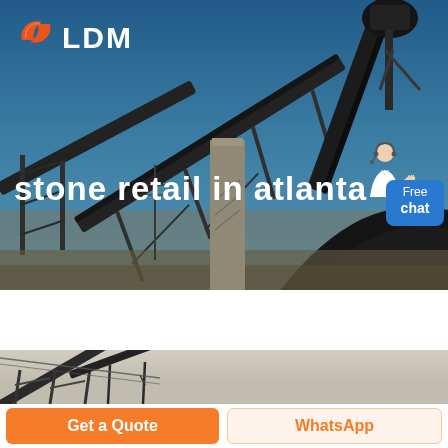[Figure (photo): Industrial stone conveyor belt machinery at a quarry site with blue sky background, overlaid with LDM logo (orange hands icon + LDM text) and 'stone retail in atlanta' hero text, plus a Free chat button with customer service person]
[Figure (photo): Partial view of industrial conveyor belt machinery, muted grey/beige tones, second strip image]
Get a Quote
WhatsApp